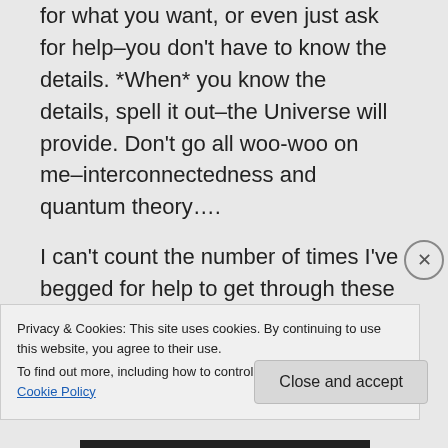for what you want, or even just ask for help–you don't have to know the details. *When* you know the details, spell it out–the Universe will provide. Don't go all woo-woo on me–interconnectedness and quantum theory….

I can't count the number of times I've begged for help to get through these last months…. the help showed up and all I did was ask. My
Privacy & Cookies: This site uses cookies. By continuing to use this website, you agree to their use.
To find out more, including how to control cookies, see here: Cookie Policy
Close and accept